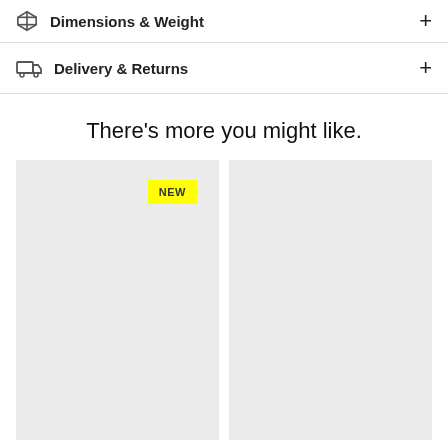Dimensions & Weight
Delivery & Returns
There's more you might like.
[Figure (photo): Product card placeholder with NEW badge (left)]
[Figure (photo): Product card placeholder (right)]